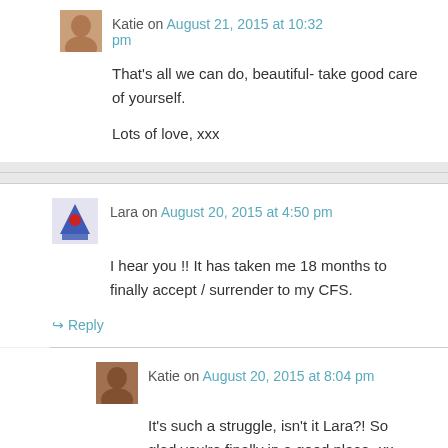Katie on August 21, 2015 at 10:32 pm
That's all we can do, beautiful- take good care of yourself.

Lots of love, xxx
Lara on August 20, 2015 at 4:50 pm
I hear you !! It has taken me 18 months to finally accept / surrender to my CFS.
↳ Reply
Katie on August 20, 2015 at 8:04 pm
It's such a struggle, isn't it Lara?! So glad you're finally in a good place- xx